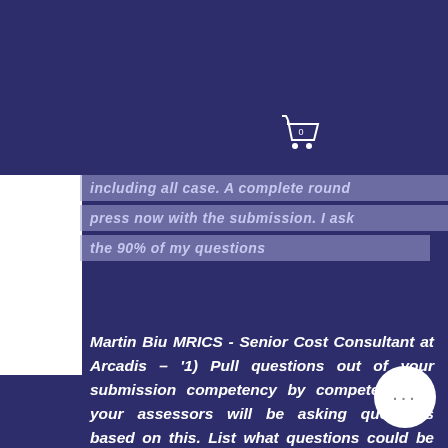Property Elite
Elite –
including all case. A complete round
press now with the submission. I ask
the 90% of my questions
Martin Biu MRICS - Senior Cost Consultant at Arcadis – '1) Pull questions out of your submission competency by competency as your assessors will be asking questions based on this. List what questions could be asked at the interview and also send your documents to colleagues for questions. 2) MOCKS!!! You will be